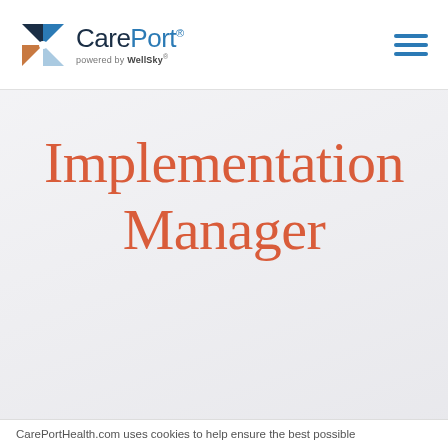[Figure (logo): CarePort powered by WellSky logo with compass rose icon and hamburger menu icon]
Implementation Manager
CarePortHealth.com uses cookies to help ensure the best possible